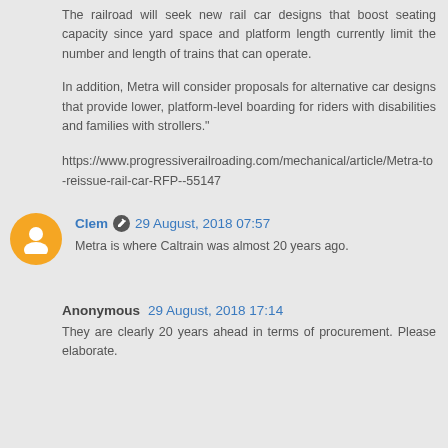The railroad will seek new rail car designs that boost seating capacity since yard space and platform length currently limit the number and length of trains that can operate.
In addition, Metra will consider proposals for alternative car designs that provide lower, platform-level boarding for riders with disabilities and families with strollers."
https://www.progressiverailroading.com/mechanical/article/Metra-to-reissue-rail-car-RFP--55147
Clem 29 August, 2018 07:57
Metra is where Caltrain was almost 20 years ago.
Anonymous 29 August, 2018 17:14
They are clearly 20 years ahead in terms of procurement. Please elaborate.